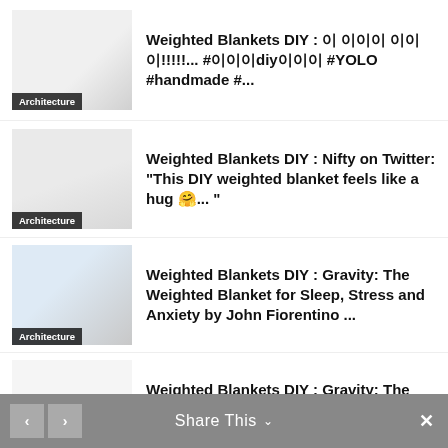Weighted Blankets DIY : 이 이이이 이이이!!!!!... #이이이diy이이이 #YOLO #handmade #...
Weighted Blankets DIY : Nifty on Twitter: "This DIY weighted blanket feels like a hug 🤗... "
Weighted Blankets DIY : Gravity: The Weighted Blanket for Sleep, Stress and Anxiety by John Fiorentino ...
Weighted Blankets DIY : Gravity: The Weighted Blanket for Sleep, Stress and Anxiety by John Fiorentino ...
Share This ∨  ×